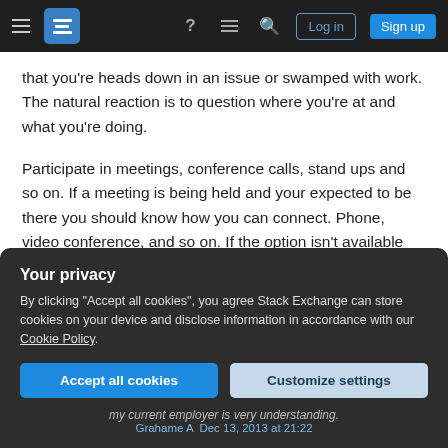Stack Exchange navigation bar with hamburger menu, logo, help, chat, search, Log in, Sign up
that you're heads down in an issue or swamped with work. The natural reaction is to question where you're at and what you're doing.
Participate in meetings, conference calls, stand ups and so on. If a meeting is being held and your expected to be there you should know how you can connect. Phone, video conference, and so on. If the option isn't available you have every right to ask for it.
Your privacy
By clicking "Accept all cookies", you agree Stack Exchange can store cookies on your device and disclose information in accordance with our Cookie Policy.
Accept all cookies  Customize settings
my current employer is very understanding.
Grahame A   Dec 13, 2013 at 21:22